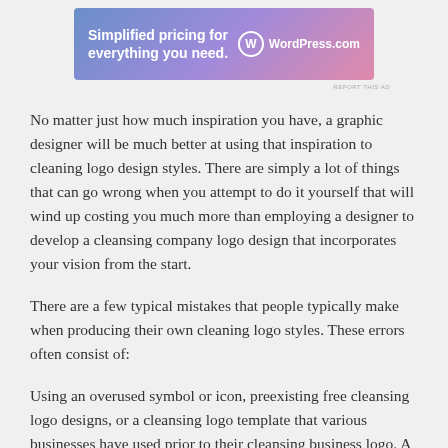[Figure (other): WordPress.com advertisement banner with text 'Simplified pricing for everything you need.' and WordPress.com logo on a blue-purple-pink gradient background]
No matter just how much inspiration you have, a graphic designer will be much better at using that inspiration to cleaning logo design styles. There are simply a lot of things that can go wrong when you attempt to do it yourself that will wind up costing you much more than employing a designer to develop a cleansing company logo design that incorporates your vision from the start.
There are a few typical mistakes that people typically make when producing their own cleaning logo styles. These errors often consist of:
Using an overused symbol or icon, preexisting free cleansing logo designs, or a cleansing logo template that various businesses have used prior to their cleansing business logo. A cleaning logo style needs to stand out amongst the